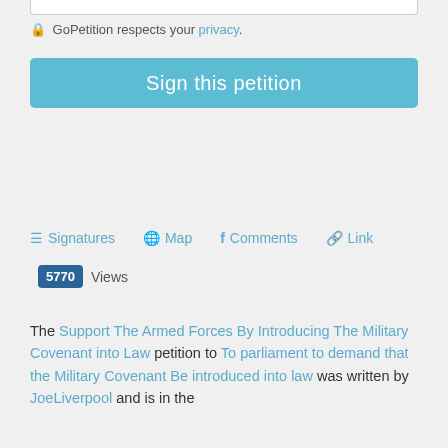🔒 GoPetition respects your privacy.
Sign this petition
Signatures  Map  Comments  Link
5770 Views
The Support The Armed Forces By Introducing The Military Covenant into Law petition to To parliament to demand that the Military Covenant Be introduced into law was written by JoeLiverpool and is in the